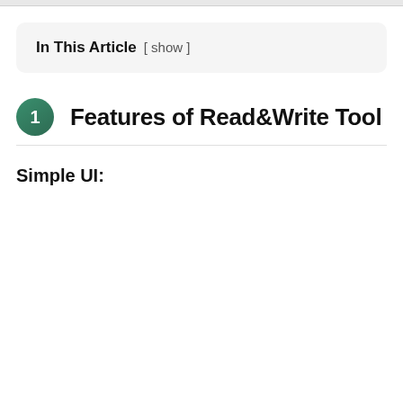In This Article [ show ]
1 Features of Read&Write Tool
Simple UI: